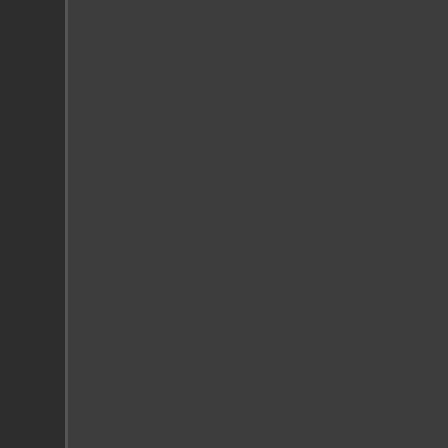the euphoria associated with coca- use can trigger tremendous cravin- of abstinence. Through the use o- dynamic changes that occur in the different brain changes that occur the craving for cocaine. They can cocaine addict sees or hears envir- studies help us by pinpointing spe- regions are critical to identifying tar-
Crack Cocaine Abuse Help, Bigfo-
Crack cocaine abuse is usually no- given and something done about t- mount up and become more difficu- first line of defense or offense in crack cocaine abuse is already a sources of the difficulty. Disorders- not genes. Depression, guilt, and c- abuse. The solution is to fully deto- the help of drugs.
Just cutting down on crack cocaine level always goes back up again. crack cocaine abuse now. Don't p- using crack cocaine for an extende- withdrawal. Additionally, the individ- period of time. This craving is norm- very difficult for anyone who has a their own without help from a profe- crack cocaine abuse help on this w-
Ecstasy Abuse Help, Bigfork, Mo-
Ecstasy abuse help involves a mu- individual goes through a detoxific- system. Secondly, they need to therapy. This two part process-